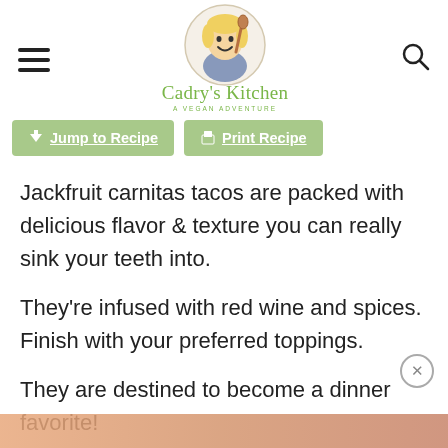Cadry's Kitchen — A Vegan Adventure
Jump to Recipe | Print Recipe
Jackfruit carnitas tacos are packed with delicious flavor & texture you can really sink your teeth into.
They're infused with red wine and spices. Finish with your preferred toppings.
They are destined to become a dinner favorite!